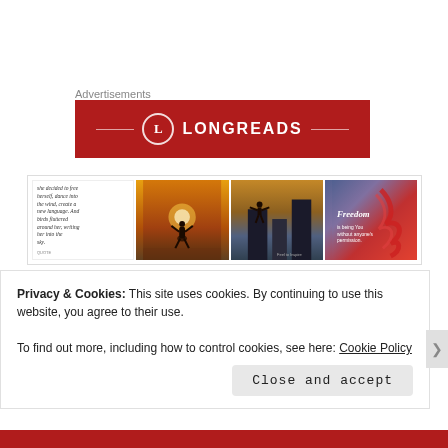Advertisements
[Figure (logo): Longreads red banner with L circle logo and horizontal lines]
[Figure (photo): Grid of four images: quote text on white, person jumping at sunset on beach, person on rooftop silhouette, Freedom painting with text]
Privacy & Cookies: This site uses cookies. By continuing to use this website, you agree to their use.
To find out more, including how to control cookies, see here: Cookie Policy
Close and accept